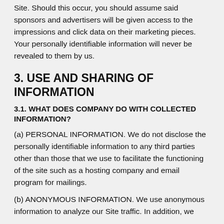Site. Should this occur, you should assume said sponsors and advertisers will be given access to the impressions and click data on their marketing pieces. Your personally identifiable information will never be revealed to them by us.
3. USE AND SHARING OF INFORMATION
3.1. WHAT DOES COMPANY DO WITH COLLECTED INFORMATION?
(a) PERSONAL INFORMATION. We do not disclose the personally identifiable information to any third parties other than those that we use to facilitate the functioning of the site such as a hosting company and email program for mailings.
(b) ANONYMOUS INFORMATION. We use anonymous information to analyze our Site traffic. In addition, we